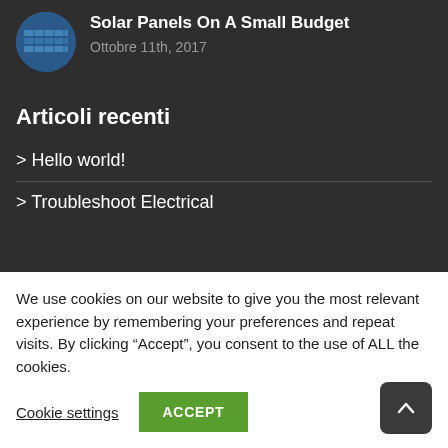[Figure (photo): Circular thumbnail image of solar panels in blue tones]
Solar Panels On A Small Budget
Ottobre 11th, 2017
Articoli recenti
> Hello world!
> Troubleshoot Electrical
We use cookies on our website to give you the most relevant experience by remembering your preferences and repeat visits. By clicking “Accept”, you consent to the use of ALL the cookies.
Cookie settings
ACCEPT